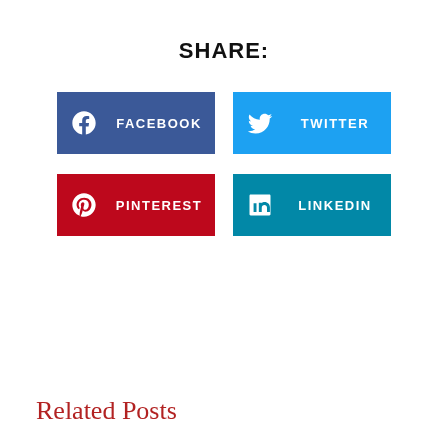SHARE:
[Figure (infographic): Four social media share buttons: Facebook (blue), Twitter (light blue), Pinterest (red/dark red), LinkedIn (teal). Each button has a white icon on the left and the platform name in white uppercase text.]
Related Posts